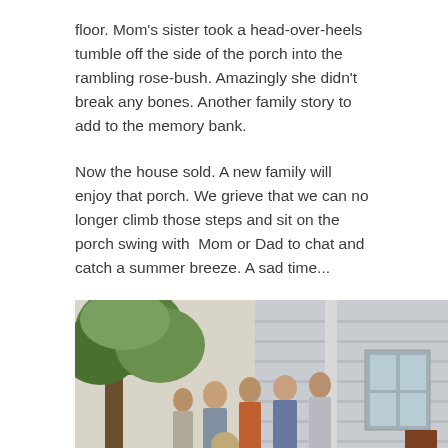floor. Mom’s sister took a head-over-heels tumble off the side of the porch into the rambling rose-bush. Amazingly she didn’t break any bones. Another family story to add to the memory bank.
Now the house sold. A new family will enjoy that porch. We grieve that we can no longer climb those steps and sit on the porch swing with  Mom or Dad to chat and catch a summer breeze. A sad time...
[Figure (photo): Vintage photograph of a group of women gathered outdoors in front of a house with a porch. A large tree is visible on the left. The photo appears to be from the 1960s or 1970s based on clothing and color tones.]